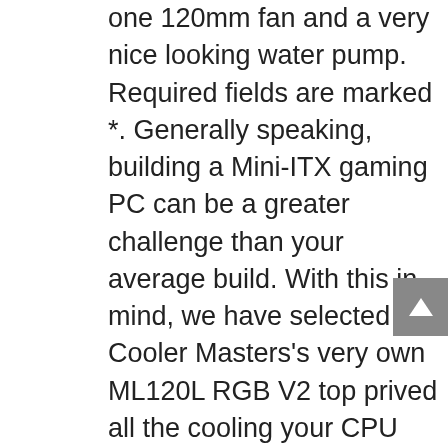one 120mm fan and a very nice looking water pump. Required fields are marked *. Generally speaking, building a Mini-ITX gaming PC can be a greater challenge than your average build. With this in mind, we have selected Cooler Masters's very own ML120L RGB V2 top prived all the cooling your CPU will need, overclocked or otherwise. This Mini-ITX gaming computer is a powerful gaming machine, but that power doesnât matter without an operating system. Mini-ITX/SFF(Small Form Factor) builds are one of the most compact builds & they offer a ton of benefits over the traditional Mid-Full tower ATX Buil d s.One of the main benefits of Mini-ITX builds is the compactness they offer also, they're much more portable which is a benefit if you're moving a lot. While this guide recommends the best Mini-ITX gaming PC you can build at an affordable price, we understand not everyone wants to go through the building process. This keyboard comes packed full of features and has